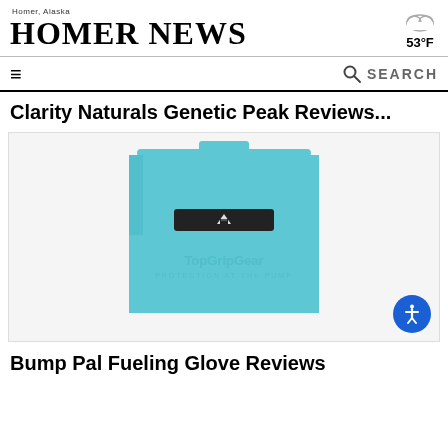Homer, Alaska — HOMER NEWS
53°F
≡  🔍 SEARCH
Clarity Naturals Genetic Peak Reviews...
[Figure (photo): A teal/light blue silicone case or holder product with a black rectangular strip bearing a white logo, branded TopGripGear with text 'PROTECTION AT THE PUMP'. The product is rounded-square shaped.]
Bump Pal Fueling Glove Reviews